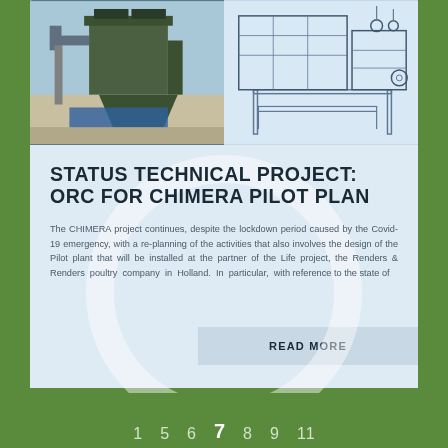[Figure (photo): Industrial equipment / dust collector or similar industrial unit photographed outdoors]
[Figure (engineering-diagram): CAD/3D technical drawing of a modular industrial pilot plant unit]
STATUS TECHNICAL PROJECT: ORC FOR CHIMERA PILOT PLAN
The CHIMERA project continues, despite the lockdown period caused by the Covid-19 emergency, with a re-planning of the activities that also involves the design of the Pilot plant that will be installed at the partner of the Life project, the Renders & Renders poultry company in Holland. In particular, with reference to the state of
READ MORE
1  5  6  7  8  9  11